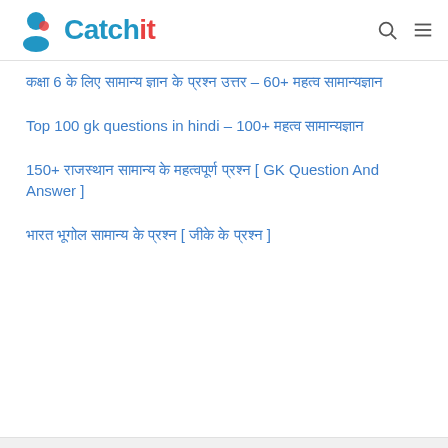Catchit
कक्षा 6 के लिए सामान्य ज्ञान के प्रश्न उत्तर – 60+ महत्व सामान्यज्ञान
Top 100 gk questions in hindi – 100+ महत्व सामान्यज्ञान
150+ राजस्थान सामान्य के महत्वपूर्ण प्रश्न [ GK Question And Answer ]
भारत भूगोल सामान्य के प्रश्न [ जीके के प्रश्न ]